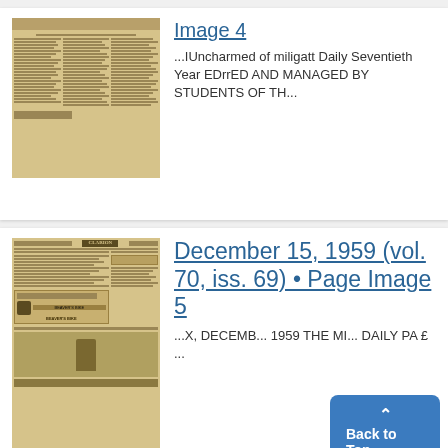[Figure (photo): Thumbnail image of a newspaper page (Image 4)]
Image 4
...IUncharmed of miligatt Daily Seventieth Year EDrrED AND MANAGED BY STUDENTS OF TH...
[Figure (photo): Thumbnail image of a newspaper page (December 15, 1959, vol. 70, iss. 69) - Page Image 5, showing Beaver's Bike advertisement and other content]
December 15, 1959 (vol. 70, iss. 69) • Page Image 5
...X, DECEMB... 1959 THE MI... DAILY PA £ ...